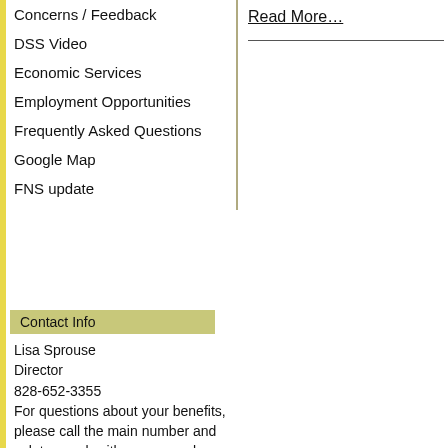Concerns / Feedback
DSS Video
Economic Services
Employment Opportunities
Frequently Asked Questions
Google Map
FNS update
Read More…
Contact Info
Lisa Sprouse
Director
828-652-3355
For questions about your benefits, please call the main number and ask to speak with a case worker.